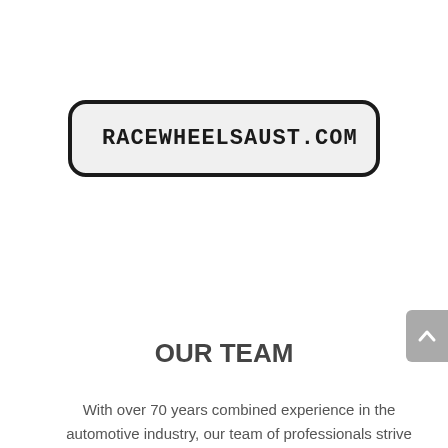[Figure (logo): RACEWHEELSAUST.COM logo in a rounded rectangle box with dark border and light gray background]
OUR TEAM
With over 70 years combined experience in the automotive industry, our team of professionals strive to make sure every car that drives out is of highest quality. what sets Hunter East Coast 4×4 apart is the attention